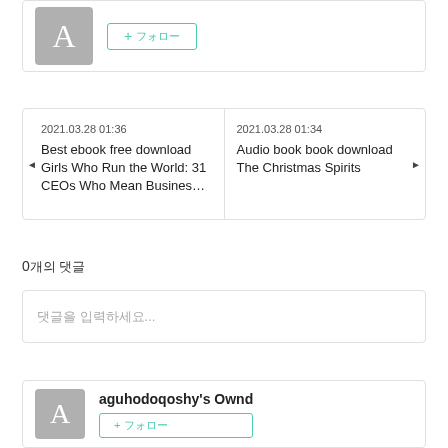[Figure (other): Partial profile card with gray avatar 'A' and teal follow button]
2021.03.28 01:36
Best ebook free download Girls Who Run the World: 31 CEOs Who Mean Busines…
2021.03.28 01:34
Audio book book download The Christmas Spirits
0개의 댓글
댓글을 입력하세요...
aguhodoqoshy's Ownd
[Figure (other): Profile card with gray avatar 'A', site name 'aguhodoqoshy's Ownd', and teal follow button]